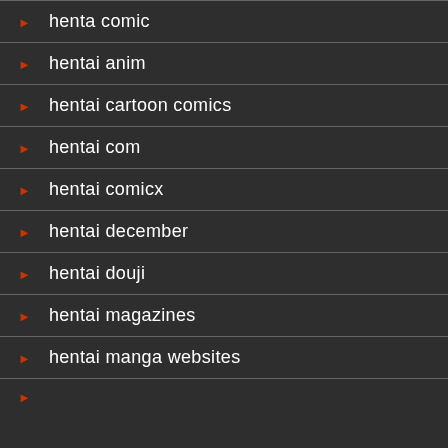henta comic
hentai anim
hentai cartoon comics
hentai com
hentai comicx
hentai december
hentai douji
hentai magazines
hentai manga websites